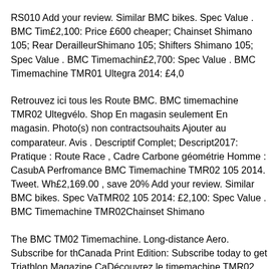RS010 Add your review. Similar BMC bikes. Spec Value . BMC Tim£2,100: Price £600 cheaper; Chainset Shimano 105; Rear DerailleurShimano 105; Shifters Shimano 105; Spec Value . BMC Timemachin£2,700: Spec Value . BMC Timemachine TMR01 Ultegra 2014: £4,0
Retrouvez ici tous les Route BMC. BMC timemachine TMR02 Ultegvélo. Shop En magasin seulement En magasin. Photo(s) non contractsouhaits Ajouter au comparateur. Avis . Descriptif Complet; Descript2017: Pratique : Route Race , Cadre Carbone géométrie Homme : CasubA Perfromance BMC Timemachine TMR02 105 2014. Tweet. Wh£2,169.00 , save 20% Add your review. Similar BMC bikes. Spec VaTMR02 105 2014: £2,100: Spec Value . BMC Timemachine TMR02Chainset Shimano
The BMC TM02 Timemachine. Long-distance Aero. Subscribe for thCanada Print Edition: Subscribe today to get Triathlon Magazine CaDécouvrez le timemachine TMR02 105 BMC, à partir de 2599€ ! Vé, Cadre Carbone géométrie Homme